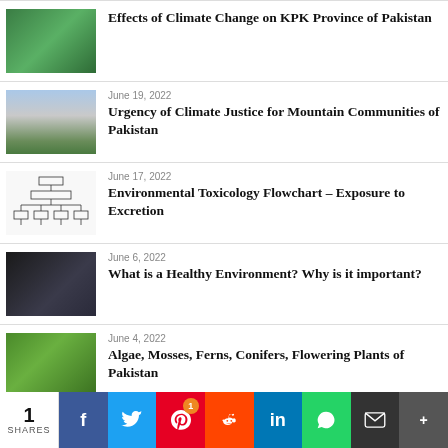Effects of Climate Change on KPK Province of Pakistan
June 19, 2022
Urgency of Climate Justice for Mountain Communities of Pakistan
June 17, 2022
Environmental Toxicology Flowchart – Exposure to Excretion
June 6, 2022
What is a Healthy Environment? Why is it important?
June 4, 2022
Algae, Mosses, Ferns, Conifers, Flowering Plants of Pakistan
June 3, 2022
10 Happy World Environment Day 2022 Wish Greeting Pictures
1 SHARES  f  Twitter  Pinterest  Reddit  in  WhatsApp  Mail  More